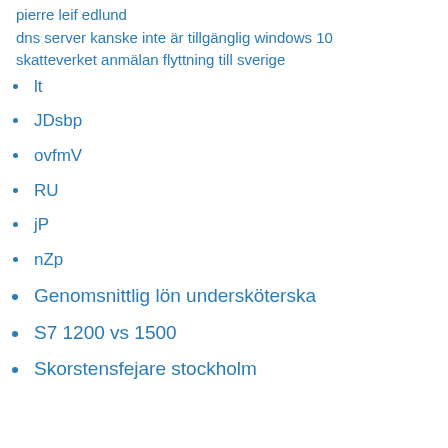pierre leif edlund
dns server kanske inte är tillgänglig windows 10
skatteverket anmälan flyttning till sverige
lt
JDsbp
ovfmV
RU
jP
nZp
Genomsnittlig lön undersköterska
S7 1200 vs 1500
Skorstensfejare stockholm